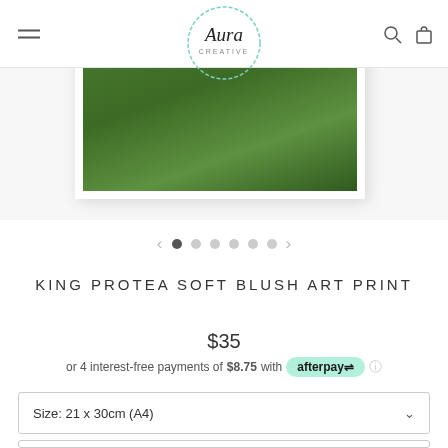[Figure (screenshot): Website header with hamburger menu, Aura Creative logo in teal circle, search and bag icons]
[Figure (photo): Product image: framed art print showing green tropical leaf on white background, partially visible. Image carousel with 6 dots and left/right arrows.]
KING PROTEA SOFT BLUSH ART PRINT
$35
or 4 interest-free payments of $8.75 with afterpay ⓘ
Size: 21 x 30cm (A4)